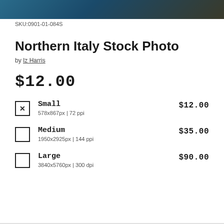[Figure (photo): Partial view of a Northern Italy stock photo showing a dark landscape with teal/blue tones at top]
SKU:0901-01-084S
Northern Italy Stock Photo
by Iz Harris
$12.00
Small  $12.00  578x867px | 72 ppi
Medium  $35.00  1950x2925px | 144 ppi
Large  $90.00  3840x5760px | 300 dpi